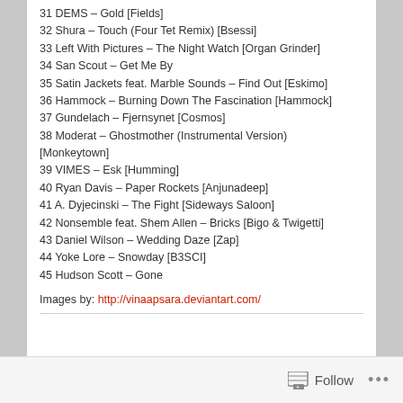31 DEMS – Gold [Fields]
32 Shura – Touch (Four Tet Remix) [Bsessi]
33 Left With Pictures – The Night Watch [Organ Grinder]
34 San Scout – Get Me By
35 Satin Jackets feat. Marble Sounds – Find Out [Eskimo]
36 Hammock – Burning Down The Fascination [Hammock]
37 Gundelach – Fjernsynet [Cosmos]
38 Moderat – Ghostmother (Instrumental Version) [Monkeytown]
39 VIMES – Esk [Humming]
40 Ryan Davis – Paper Rockets [Anjunadeep]
41 A. Dyjecinski – The Fight [Sideways Saloon]
42 Nonsemble feat. Shem Allen – Bricks [Bigo & Twigetti]
43 Daniel Wilson – Wedding Daze [Zap]
44 Yoke Lore – Snowday [B3SCI]
45 Hudson Scott – Gone
Images by: http://vinaapsara.deviantart.com/
Follow